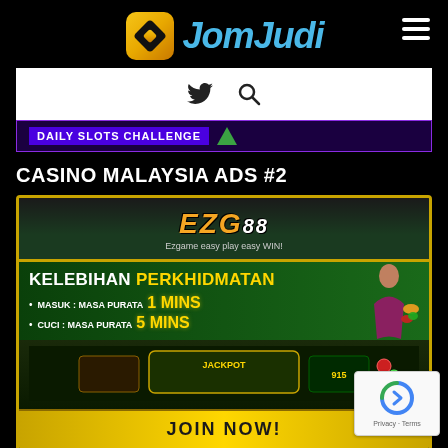[Figure (logo): JomJudi website logo with golden icon and blue stylized text, hamburger menu icon on right]
[Figure (screenshot): White navigation bar with Twitter bird icon and search/magnifying glass icon]
[Figure (screenshot): Purple banner strip with text 'DAILY SLOTS CHALLENGE']
CASINO MALAYSIA ADS #2
[Figure (infographic): EZG88 casino advertisement banner. Top: EZG88 logo with tagline 'Ezgame easy play easy WIN!'. Middle: Green background with text 'KELEBIHAN PERKHIDMATAN', bullet points 'MASUK: Masa purata 1 MINS' and 'CUCI: Masa purata 5 MINS', woman figure with casino chips. Bottom: slot game images, JACKPOT text, gold border, 'JOIN NOW!' button in gold.]